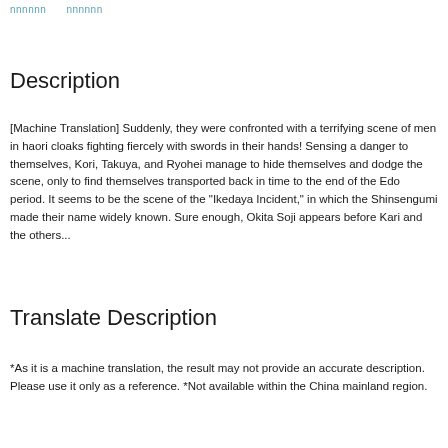nnnnnn   nnnnnn
Description
[Machine Translation] Suddenly, they were confronted with a terrifying scene of men in haori cloaks fighting fiercely with swords in their hands! Sensing a danger to themselves, Kori, Takuya, and Ryohei manage to hide themselves and dodge the scene, only to find themselves transported back in time to the end of the Edo period. It seems to be the scene of the "Ikedaya Incident," in which the Shinsengumi made their name widely known. Sure enough, Okita Soji appears before Kari and the others...
Translate Description
*As it is a machine translation, the result may not provide an accurate description. Please use it only as a reference. *Not available within the China mainland region.